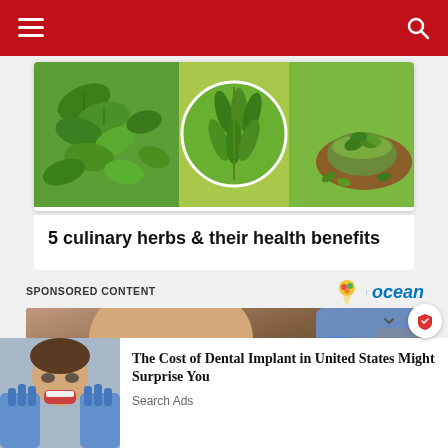Navigation header with hamburger menu and search icon
[Figure (photo): Article card showing culinary herbs - mint leaves, curry leaves in circular crop, and green herbs in bowl on wooden plate, with green background]
5 culinary herbs & their health benefits
SPONSORED CONTENT
[Figure (logo): Ocean brand logo with ice cream icon and 'ocean' text in blue]
[Figure (photo): Dental procedure photo showing elderly bald patient reclined in dental chair with dentist's gloved hands working on mouth]
[Figure (photo): Ad thumbnail showing young person at dentist with mouth open and gloved hands]
The Cost of Dental Implant in United States Might Surprise You
Search Ads